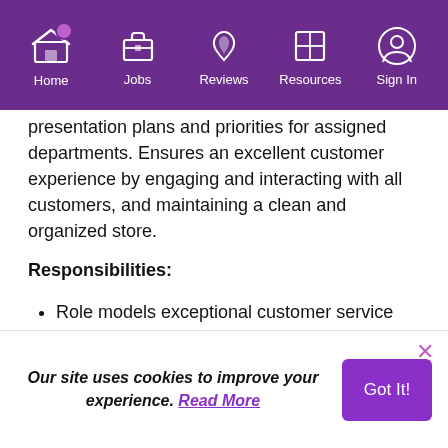Home | Jobs | Reviews | Resources | Sign In
presentation plans and priorities for assigned departments. Ensures an excellent customer experience by engaging and interacting with all customers, and maintaining a clean and organized store.
Responsibilities:
Role models exceptional customer service
Creates a positive internal and external customer
Apply on company site
Save for later
Our site uses cookies to improve your experience. Read More
Got It!